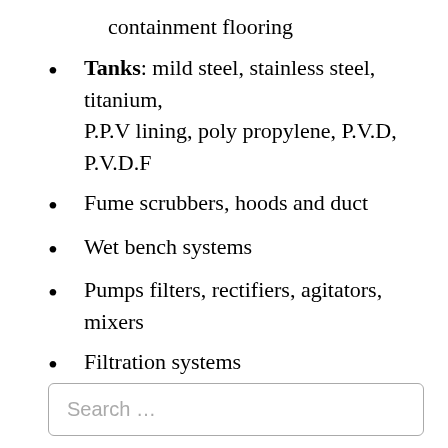containment flooring
Tanks: mild steel, stainless steel, titanium, P.P.V lining, poly propylene, P.V.D, P.V.D.F
Fume scrubbers, hoods and duct
Wet bench systems
Pumps filters, rectifiers, agitators, mixers
Filtration systems
Search …